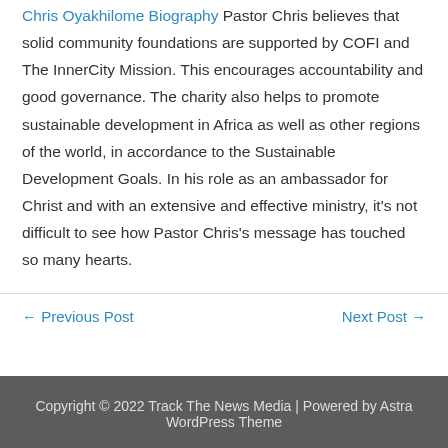Chris Oyakhilome Biography Pastor Chris believes that solid community foundations are supported by COFI and The InnerCity Mission. This encourages accountability and good governance. The charity also helps to promote sustainable development in Africa as well as other regions of the world, in accordance to the Sustainable Development Goals. In his role as an ambassador for Christ and with an extensive and effective ministry, it's not difficult to see how Pastor Chris's message has touched so many hearts.
← Previous Post
Next Post →
Copyright © 2022 Track The News Media | Powered by Astra WordPress Theme